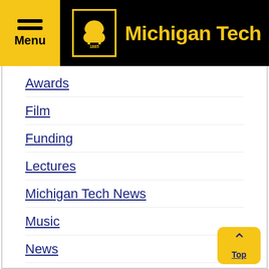Menu / Michigan Tech
Awards
Film
Funding
Lectures
Michigan Tech News
Music
News
Theatre
Uncategorized
Undergraduates